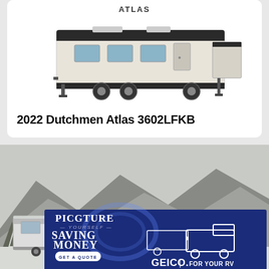[Figure (photo): Photo of a 2022 Dutchmen Atlas 3602LFKB fifth-wheel RV trailer, white and dark exterior, shown from the rear-side angle on white background]
2022 Dutchmen Atlas 3602LFKB
[Figure (photo): Winter outdoor scene with RV/camper trailer parked in snow with snowy mountain and forest in background. Overlaid with a GEICO advertisement banner: 'PICGTURE YOURSELF SAVING MONEY - GET A QUOTE - GEICO FOR YOUR RV' with illustration of truck towing RV.]